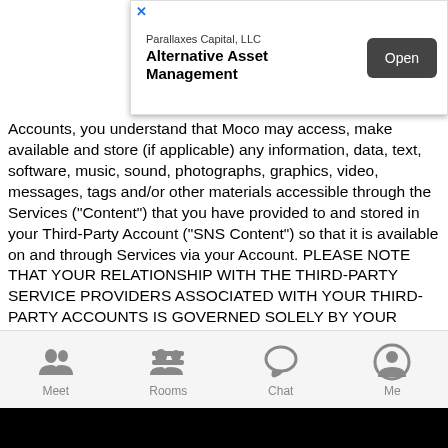[Figure (screenshot): Mobile app advertisement banner for Parallaxes Capital, LLC - Alternative Asset Management with an Open button]
Accounts, you understand that Moco may access, make available and store (if applicable) any information, data, text, software, music, sound, photographs, graphics, video, messages, tags and/or other materials accessible through the Services ("Content") that you have provided to and stored in your Third-Party Account ("SNS Content") so that it is available on and through Services via your Account. PLEASE NOTE THAT YOUR RELATIONSHIP WITH THE THIRD-PARTY SERVICE PROVIDERS ASSOCIATED WITH YOUR THIRD-PARTY ACCOUNTS IS GOVERNED SOLELY BY YOUR AGREEMENT(S) WITH SUCH THIRD-PARTY SERVICE PROVIDERS, AND MOCO DISCLAIMS ANY LIABILITY FOR PERSONALLY IDENTIFIABLE INFORMATION THAT MAY BE PROVIDED TO IT BY SUCH THIRD-PARTY SERVICE PROVIDERS IN VIOLATION OF THE PRIVACY SETTINGS THAT YOU HAVE SET IN SUCH THIRD-PARTY ACCOUNTS. Moco makes no effort to review any SNS Content for any purpose, including but not limited to, for accuracy, legality or noninfringement, and Moco is not
[Figure (screenshot): Mobile app bottom navigation bar with Meet, Rooms, Chat, and Me icons]